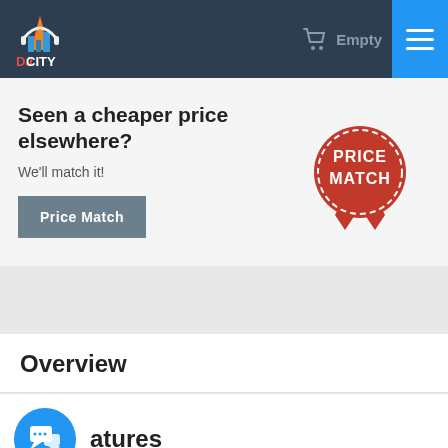DJ City — Empty cart — Navigation menu
Seen a cheaper price elsewhere?
We'll match it!
Price Match
[Figure (illustration): Red price match badge/ribbon icon with text PRICE MATCH]
Overview
atures